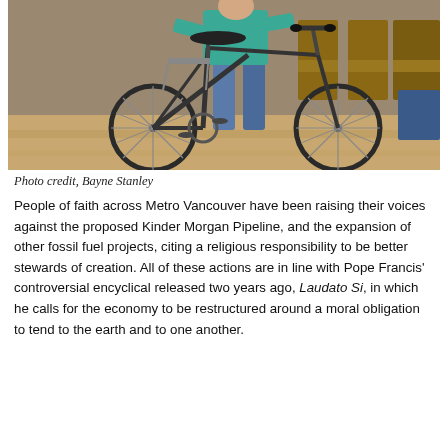[Figure (photo): A person in a teal shirt and blue pants standing with a dark bicycle inside a room with wooden chairs and a hardwood floor.]
Photo credit, Bayne Stanley
People of faith across Metro Vancouver have been raising their voices against the proposed Kinder Morgan Pipeline, and the expansion of other fossil fuel projects, citing a religious responsibility to be better stewards of creation. All of these actions are in line with Pope Francis' controversial encyclical released two years ago, Laudato Si, in which he calls for the economy to be restructured around a moral obligation to tend to the earth and to one another.